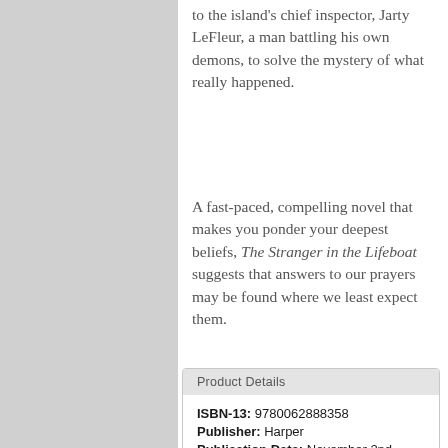to the island's chief inspector, Jarty LeFleur, a man battling his own demons, to solve the mystery of what really happened.
A fast-paced, compelling novel that makes you ponder your deepest beliefs, The Stranger in the Lifeboat suggests that answers to our prayers may be found where we least expect them.
| Product Details |
| --- |
| ISBN-13: 9780062888358 |
| Publisher: Harper |
| Publication Date: November 2nd, 2021 |